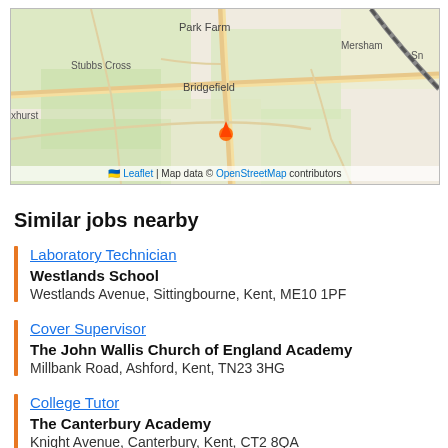[Figure (map): OpenStreetMap showing area with Park Farm, Bridgefield, Stubbs Cross, Mersham, and xhurst locations marked]
Similar jobs nearby
Laboratory Technician | Westlands School | Westlands Avenue, Sittingbourne, Kent, ME10 1PF
Cover Supervisor | The John Wallis Church of England Academy | Millbank Road, Ashford, Kent, TN23 3HG
College Tutor | The Canterbury Academy | Knight Avenue, Canterbury, Kent, CT2 8QA
Design and Technology Technician